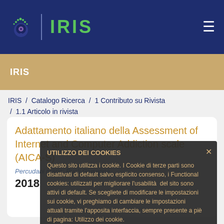IRIS
IRIS
IRIS / Catalogo Ricerca / 1 Contributo su Rivista / 1.1 Articolo in rivista
Adattamento italiano della Assessment of Internet and Computer Addiction scale (AICA-S)
Percudani mario; Buoli Giuseppe
2018
UTILIZZO DEI COOKIES
Questo sito utilizza i cookie. I Cookie di terze parti sono disattivati di default salvo esplicito consenso, i Functional cookies: utilizzati per migliorare l'usabilità del sito sono attivi di default. Se scegliete di modificare le impostazioni sui cookie, vi preghiamo di cambiare le impostazioni attuali tramite l'apposita interfaccia, sempre presente a piè di pagina: Utilizzo dei cookie.